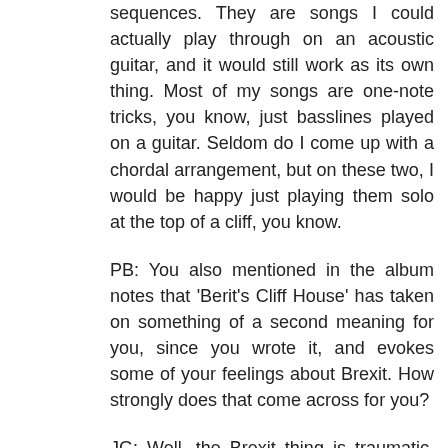sequences. They are songs I could actually play through on an acoustic guitar, and it would still work as its own thing. Most of my songs are one-note tricks, you know, just basslines played on a guitar. Seldom do I come up with a chordal arrangement, but on these two, I would be happy just playing them solo at the top of a cliff, you know.
PB: You also mentioned in the album notes that 'Berit's Cliff House' has taken on something of a second meaning for you, since you wrote it, and evokes some of your feelings about Brexit. How strongly does that come across for you?
JG: Well, the Brexit thing is traumatic. As a musician, it's a disaster. And it is for so many